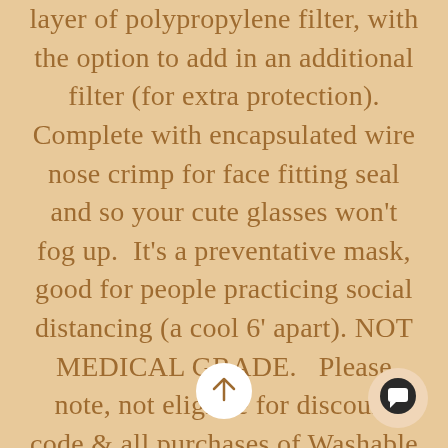layer of polypropylene filter, with the option to add in an additional filter (for extra protection). Complete with encapsulated wire nose crimp for face fitting seal and so your cute glasses won't fog up.  It's a preventative mask, good for people practicing social distancing (a cool 6' apart). NOT MEDICAL GRADE.   Please note, not eligible for discount code & all purchases of Washable Masks are final.
[Figure (other): Circular scroll-to-top button with upward arrow, white circle outline on tan background]
[Figure (other): Chat button icon, dark circle with speech bubble icon, light pink circular background]